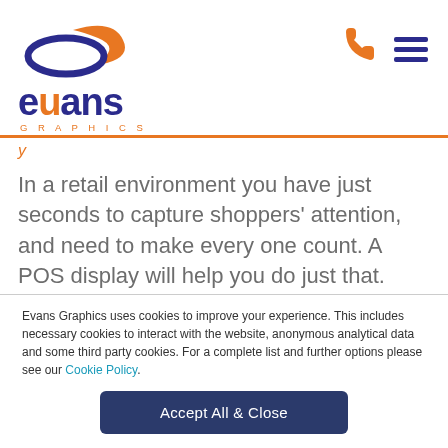[Figure (logo): Evans Graphics logo with swoosh icon, dark blue 'evans' text, and orange 'GRAPHICS' subtitle]
In a retail environment you have just seconds to capture shoppers' attention, and need to make every one count. A POS display will help you do just that.
Evans Graphics uses cookies to improve your experience. This includes necessary cookies to interact with the website, anonymous analytical data and some third party cookies. For a complete list and further options please see our Cookie Policy.
Accept All & Close